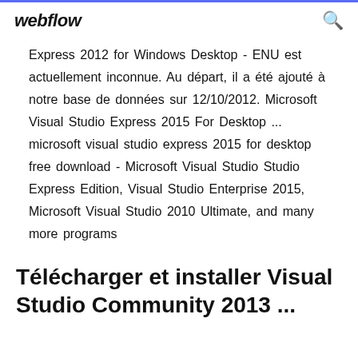webflow
Express 2012 for Windows Desktop - ENU est actuellement inconnue. Au départ, il a été ajouté à notre base de données sur 12/10/2012. Microsoft Visual Studio Express 2015 For Desktop ... microsoft visual studio express 2015 for desktop free download - Microsoft Visual Studio Express Edition, Visual Studio Enterprise 2015, Microsoft Visual Studio 2010 Ultimate, and many more programs
Télécharger et installer Visual Studio Community 2013 ...